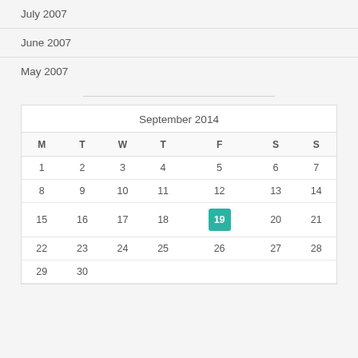July 2007
June 2007
May 2007
| M | T | W | T | F | S | S |
| --- | --- | --- | --- | --- | --- | --- |
| 1 | 2 | 3 | 4 | 5 | 6 | 7 |
| 8 | 9 | 10 | 11 | 12 | 13 | 14 |
| 15 | 16 | 17 | 18 | 19* | 20 | 21 |
| 22 | 23 | 24 | 25 | 26 | 27 | 28 |
| 29 | 30 |  |  |  |  |  |